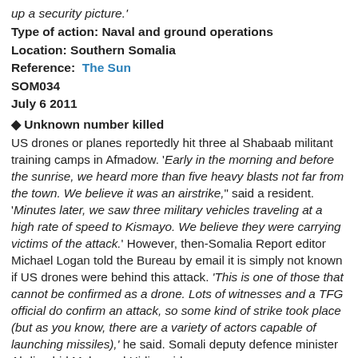up a security picture.'
Type of action: Naval and ground operations
Location: Southern Somalia
Reference:  The Sun
SOM034
July 6 2011
◆ Unknown number killed
US drones or planes reportedly hit three al Shabaab militant training camps in Afmadow. 'Early in the morning and before the sunrise, we heard more than five heavy blasts not far from the town. We believe it was an airstrike," said a resident. 'Minutes later, we saw three military vehicles traveling at a high rate of speed to Kismayo. We believe they were carrying victims of the attack.' However, then-Somalia Report editor Michael Logan told the Bureau by email it is simply not known if US drones were behind this attack. 'This is one of those that cannot be confirmed as a drone. Lots of witnesses and a TFG official do confirm an attack, so some kind of strike took place (but as you know, there are a variety of actors capable of launching missiles),' he said. Somali deputy defence minister Abdirashid Mohamed Hidig said